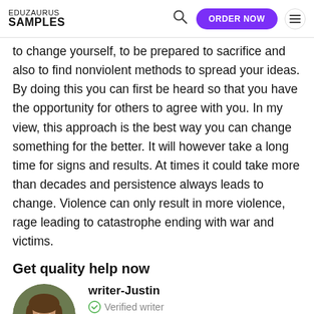EDUZAURUS SAMPLES | ORDER NOW
to change yourself, to be prepared to sacrifice and also to find nonviolent methods to spread your ideas. By doing this you can first be heard so that you have the opportunity for others to agree with you. In my view, this approach is the best way you can change something for the better. It will however take a long time for signs and results. At times it could take more than decades and persistence always leads to change. Violence can only result in more violence, rage leading to catastrophe ending with war and victims.
Get quality help now
[Figure (photo): Circular profile photo of writer Justin, a young man with short brown hair]
writer-Justin
Verified writer
Proficient in: History of The United States, Social Movement